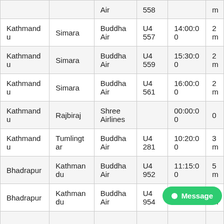| From | To | Airline | Flight | Time | Duration |
| --- | --- | --- | --- | --- | --- |
|  |  | Air | 558 |  | m |
| Kathmandu | Simara | Buddha Air | U4 557 | 14:00:00 | 2 m |
| Kathmandu | Simara | Buddha Air | U4 559 | 15:30:00 | 2 m |
| Kathmandu | Simara | Buddha Air | U4 561 | 16:00:00 | 2 m |
| Kathmandu | Rajbiraj | Shree Airlines |  | 00:00:00 | 0 |
| Kathmandu | Tumlingtar | Buddha Air | U4 281 | 10:20:00 | 3 m |
| Bhadrapur | Kathmandu | Buddha Air | U4 952 | 11:15:00 | 5 m |
| Bhadrapur | Kathmandu | Buddha Air | U4 954 | 14:55:00 | 5 m |
|  |  |  |  |  |  |